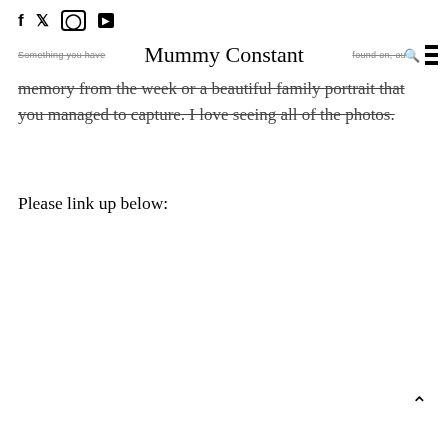f  🐦  Instagram  ▶
Something you have Mummy Constant found on, or a memory from the week or a beautiful family portrait that you managed to capture. I love seeing all of the photos.
Please link up below: